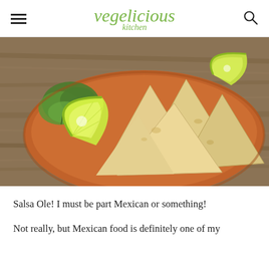vegelicious kitchen
[Figure (photo): A terracotta plate with tortilla chips and lime wedges on a wooden surface, with fresh cilantro garnish.]
Salsa Ole! I must be part Mexican or something!
Not really, but Mexican food is definitely one of my